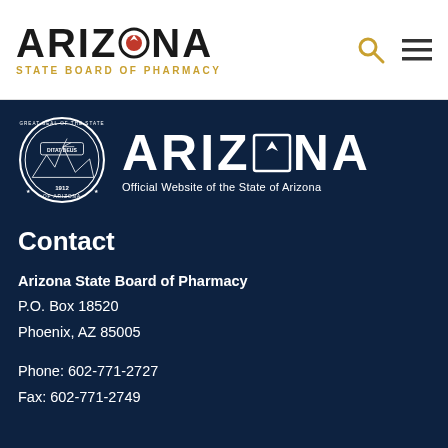ARIZONA STATE BOARD OF PHARMACY
[Figure (logo): Arizona State Seal circular emblem with text GREAT SEAL OF THE STATE OF ARIZONA, DITAT DEUS, 1912]
ARIZONA — Official Website of the State of Arizona
Contact
Arizona State Board of Pharmacy
P.O. Box 18520
Phoenix, AZ 85005
Phone: 602-771-2727
Fax: 602-771-2749